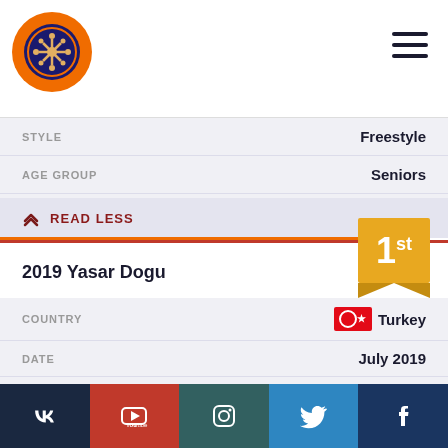UWW Wrestling Logo and Navigation
| Field | Value |
| --- | --- |
| STYLE | Freestyle |
| AGE GROUP | Seniors |
| WEIGHT CLASS | 86 kg |
READ LESS
2019 Yasar Dogu
| Field | Value |
| --- | --- |
| COUNTRY | Turkey |
| DATE | July 2019 |
| STYLE | Freestyle |
| AGE GROUP | Seniors |
| WEIGHT CLASS | 86 kg |
EXPLORE COMPETITION
VK | YouTube | Instagram | Twitter | Facebook